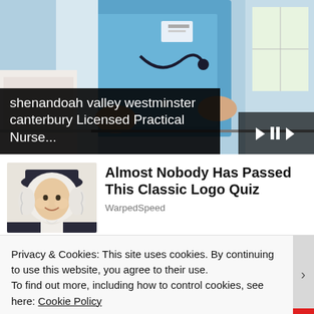[Figure (screenshot): Video thumbnail showing a nurse or healthcare professional in blue scrubs with a stethoscope, with video playback controls and progress bar overlay]
shenandoah valley westminster canterbury Licensed Practical Nurse...
[Figure (illustration): Illustrated portrait of a colonial-era man with white wig and dark hat]
Almost Nobody Has Passed This Classic Logo Quiz
WarpedSpeed
Privacy & Cookies: This site uses cookies. By continuing to use this website, you agree to their use.
To find out more, including how to control cookies, see here: Cookie Policy
Close and accept